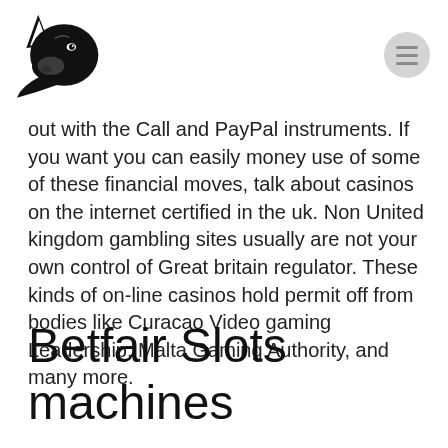[Figure (logo): Wolf/husky dog head logo in black silhouette, facing left]
out with the Call and PayPal instruments. If you want you can easily money use of some of these financial moves, talk about casinos on the internet certified in the uk. Non United kingdom gambling sites usually are not your own control of Great britain regulator. These kinds of on-line casinos hold permit off from bodies like Curacao Video gaming Leadership, Malta Gaming Authority, and many more.
Betfair Slots machines